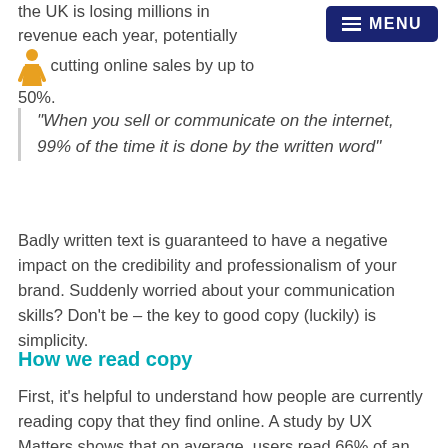the UK is losing millions in revenue each year, potentially cutting online sales by up to 50%.
[Figure (illustration): Small orange person/figure icon]
"When you sell or communicate on the internet, 99% of the time it is done by the written word"
Badly written text is guaranteed to have a negative impact on the credibility and professionalism of your brand. Suddenly worried about your communication skills? Don't be – the key to good copy (luckily) is simplicity.
How we read copy
First, it's helpful to understand how people are currently reading copy that they find online. A study by UX Matters shows that on average, users read 66% of an article. That's not a lot, and that number only decreases with the length of the article. 48% of visitors find their daily dose of content from social media, many using a method called "scanning" – meaning they take in every couple of words as opposed to reading each sentence in full.